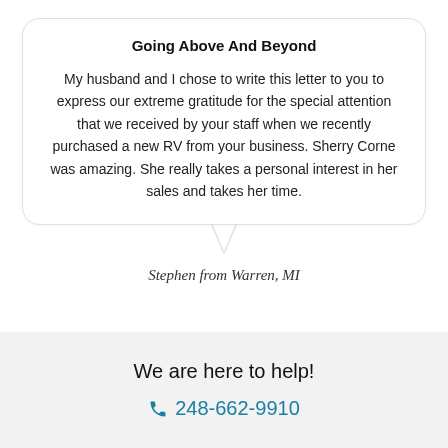Going Above And Beyond
My husband and I chose to write this letter to you to express our extreme gratitude for the special attention that we received by your staff when we recently purchased a new RV from your business. Sherry Corne was amazing. She really takes a personal interest in her sales and takes her time.
Stephen from Warren, MI
We are here to help!
248-662-9910